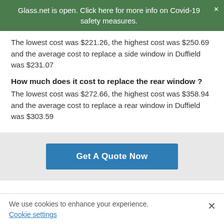Glass.net is open. Click here for more info on Covid-19 safety measures.
The lowest cost was $221.26, the highest cost was $250.69 and the average cost to replace a side window in Duffield was $231.07
How much does it cost to replace the rear window ?
The lowest cost was $272.66, the highest cost was $358.94 and the average cost to replace a rear window in Duffield was $303.59
[Figure (other): Get A Quote Now button in blue]
We use cookies to enhance your experience. Cookie settings